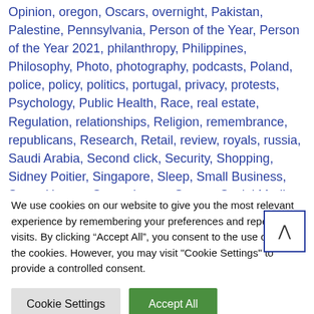Opinion, oregon, Oscars, overnight, Pakistan, Palestine, Pennsylvania, Person of the Year, Person of the Year 2021, philanthropy, Philippines, Philosophy, Photo, photography, podcasts, Poland, police, policy, politics, portugal, privacy, protests, Psychology, Public Health, Race, real estate, Regulation, relationships, Religion, remembrance, republicans, Research, Retail, review, royals, russia, Saudi Arabia, Second click, Security, Shopping, Sidney Poitier, Singapore, Sleep, Small Business, Smart Homes, Smartphones, Soccer, Social Media, society, solomon islands, Somalia, South Africa, South America, South Asia, South Carolina, South Korea, Space, Spain, Special Project, sponsorshipblock, Sports, Sri Lanka, Startups, stocks, streaming, Sudan, Supreme Court, Sustainability, sweden, syndication, Syria, Taiwan, Taxes, Technology, Television, Tennessee, tennis, Terrorism, Texas,
We use cookies on our website to give you the most relevant experience by remembering your preferences and repeat visits. By clicking "Accept All", you consent to the use of ALL the cookies. However, you may visit "Cookie Settings" to provide a controlled consent.